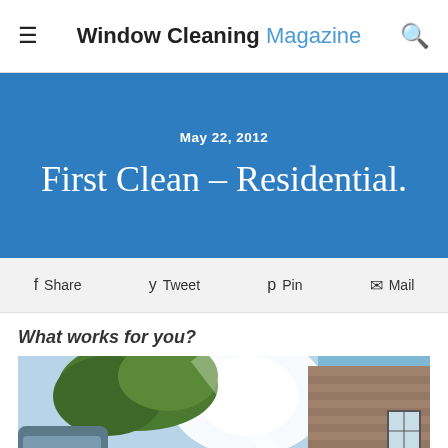Window Cleaning Magazine
First Clean – Residential.
May 22, 2012
Share  Tweet  Pin  Mail
What works for you?
[Figure (photo): Outdoor photo showing a house with brick and siding exterior, trees, a car partially visible on the left, bright sunlight glaring, blue sky visible on the right side.]